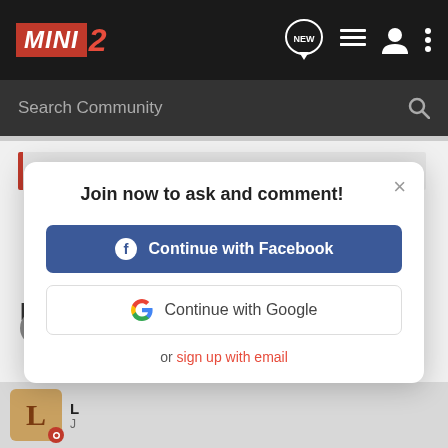MINI2 — navigation bar with NEW, list, user, and menu icons
Search Community
rich said:
Join now to ask and comment!
Continue with Facebook
Continue with Google
or sign up with email